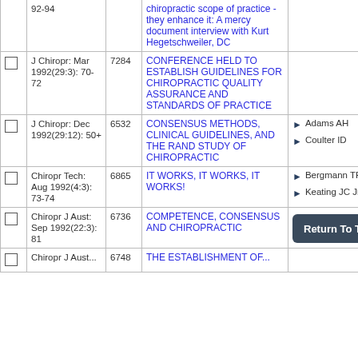|  | Journal | ID | Title | Authors |
| --- | --- | --- | --- | --- |
|  | 92-94 |  | chiropractic scope of practice - they enhance it: A mercy document interview with Kurt Hegetschweiler, DC |  |
|  | J Chiropr: Mar 1992(29:3): 70-72 | 7284 | CONFERENCE HELD TO ESTABLISH GUIDELINES FOR CHIROPRACTIC QUALITY ASSURANCE AND STANDARDS OF PRACTICE |  |
|  | J Chiropr: Dec 1992(29:12): 50+ | 6532 | CONSENSUS METHODS, CLINICAL GUIDELINES, AND THE RAND STUDY OF CHIROPRACTIC | Adams AH
Coulter ID |
|  | Chiropr Tech: Aug 1992(4:3): 73-74 | 6865 | IT WORKS, IT WORKS, IT WORKS! | Bergmann TF
Keating JC Jr |
|  | Chiropr J Aust: Sep 1992(22:3): 81 | 6736 | COMPETENCE, CONSENSUS AND CHIROPRACTIC | Return To Top |
|  | Chiropr J Aust ... | 6748 | THE ESTABLISHMENT OF... |  |